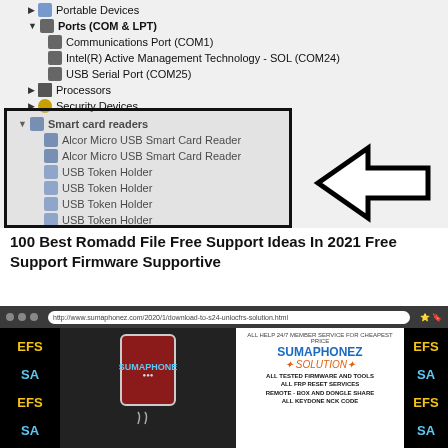[Figure (screenshot): Windows Device Manager showing Ports (COM & LPT) section expanded with Communications Port (COM1), Intel(R) Active Management Technology - SOL (COM24), USB Serial Port (COM25), Processors, Security Devices, and Smart card readers (highlighted with black border box) containing Alcor Micro USB Smart Card Reader (x2), USB Token Holder (x4). A large black outlined arrow points left toward the Smart card readers section.]
100 Best Romadd File Free Support Ideas In 2021 Free Support Firmware Supportive
[Figure (screenshot): Browser screenshot showing a website (sumaphonez.com) with EFS/SA banners on left and right sides, a device image in the center, and SUMAPHONEZ SOLUTION panel on the right listing: ALL TESTED FIRMWARE AND TOOLS, ALL FRP RESET SERVICES, REMOTE - BOX AND DONGLE SHARE, ALL KEYDONE NCK CODE.]